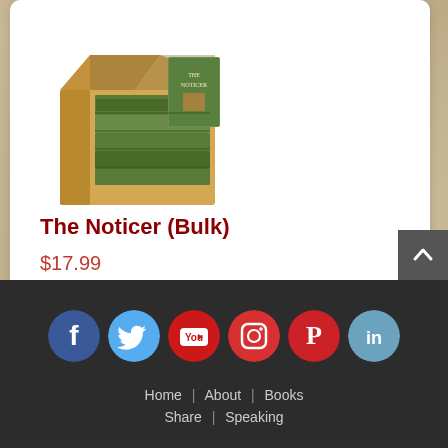[Figure (photo): A cardboard box open at the top containing multiple copies of a hardcover book titled 'The Noticer']
The Noticer (Bulk)
$17.99
[Figure (infographic): Social media icons row: Facebook (blue), Twitter (light blue), YouTube (red), Instagram (red), Pinterest (red), LinkedIn (light blue)]
Home | About | Books | Share | Speaking